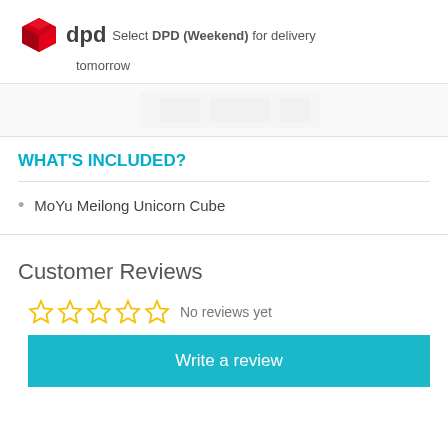[Figure (logo): DPD logo - red cube icon with 'dpd' text]
Select DPD (Weekend) for delivery tomorrow
WHAT'S INCLUDED?
MoYu Meilong Unicorn Cube
Customer Reviews
No reviews yet
Write a review